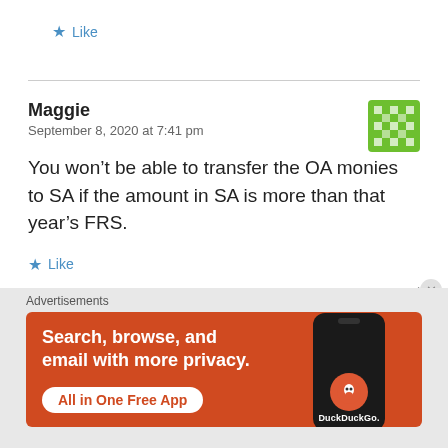★ Like
Maggie
September 8, 2020 at 7:41 pm
You won't be able to transfer the OA monies to SA if the amount in SA is more than that year's FRS.
★ Like
Repl
Advertisements
[Figure (illustration): DuckDuckGo advertisement banner: orange background with white bold text 'Search, browse, and email with more privacy.' and a white pill button 'All in One Free App'. Right side shows a phone with DuckDuckGo logo.]